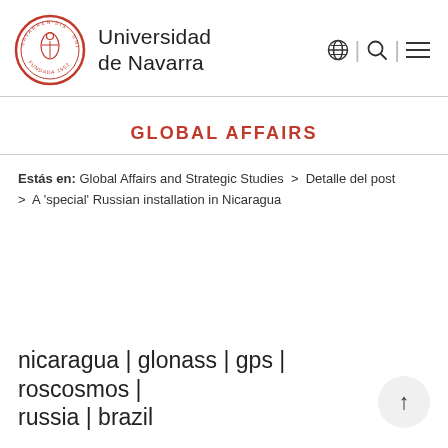[Figure (logo): Universidad de Navarra logo with red circular seal and university name text]
GLOBAL AFFAIRS
Estás en: Global Affairs and Strategic Studies > Detalle del post > A 'special' Russian installation in Nicaragua
nicaragua | glonass | gps | roscosmos | russia | brazil